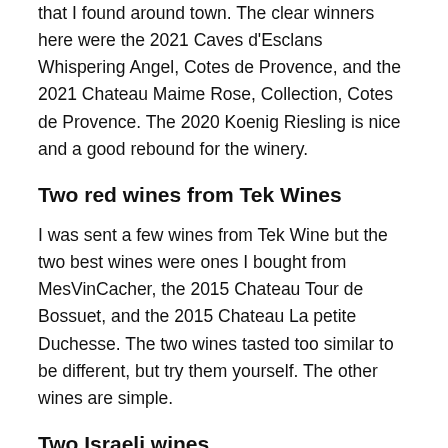that I found around town. The clear winners here were the 2021 Caves d'Esclans Whispering Angel, Cotes de Provence, and the 2021 Chateau Maime Rose, Collection, Cotes de Provence. The 2020 Koenig Riesling is nice and a good rebound for the winery.
Two red wines from Tek Wines
I was sent a few wines from Tek Wine but the two best wines were ones I bought from MesVinCacher, the 2015 Chateau Tour de Bossuet, and the 2015 Chateau La petite Duchesse. The two wines tasted too similar to be different, but try them yourself. The other wines are simple.
Two Israeli wines
A change and to...